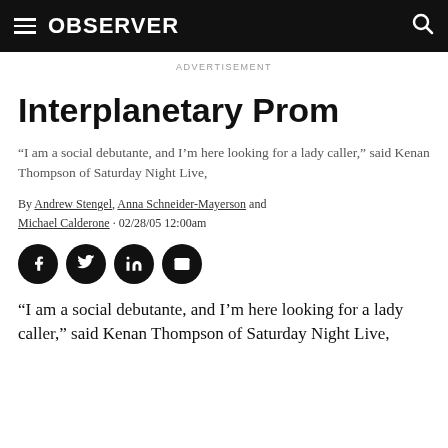OBSERVER
ADVERTISEMENT
Interplanetary Prom
“I am a social debutante, and I’m here looking for a lady caller,” said Kenan Thompson of Saturday Night Live,
By Andrew Stengel, Anna Schneider-Mayerson and Michael Calderone · 02/28/05 12:00am
[Figure (other): Social share buttons: Facebook, Twitter, LinkedIn, Email]
“I am a social debutante, and I’m here looking for a lady caller,” said Kenan Thompson of Saturday Night Live,